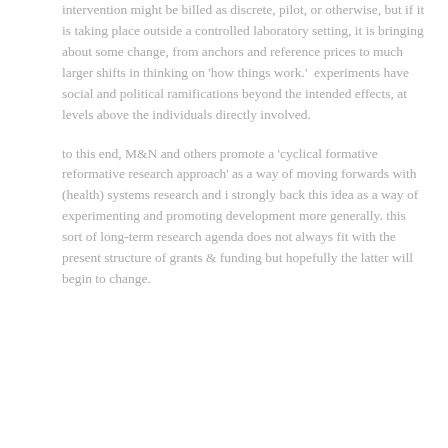intervention might be billed as discrete, pilot, or otherwise, but if it is taking place outside a controlled laboratory setting, it is bringing about some change, from anchors and reference prices to much larger shifts in thinking on 'how things work.'  experiments have social and political ramifications beyond the intended effects, at levels above the individuals directly involved.
to this end, M&N and others promote a 'cyclical formative reformative research approach' as a way of moving forwards with (health) systems research and i strongly back this idea as a way of experimenting and promoting development more generally. this sort of long-term research agenda does not always fit with the present structure of grants & funding but hopefully the latter will begin to change.